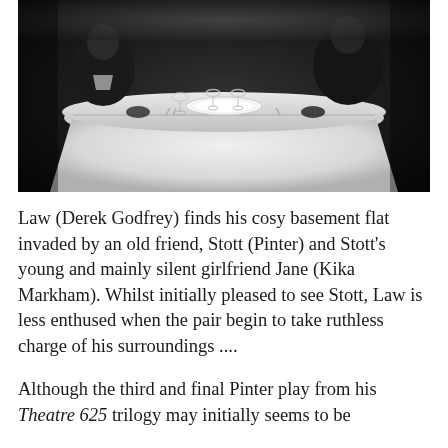[Figure (photo): Black and white photograph showing two people seated at a dining table covered with a white tablecloth, with glassware and place settings visible on the table. The scene is dimly lit with a dark background.]
Law (Derek Godfrey) finds his cosy basement flat invaded by an old friend, Stott (Pinter) and Stott's young and mainly silent girlfriend Jane (Kika Markham). Whilst initially pleased to see Stott, Law is less enthused when the pair begin to take ruthless charge of his surroundings ....
Although the third and final Pinter play from his Theatre 625 trilogy may initially seems to be a familiar one and (or so it seems initially) one